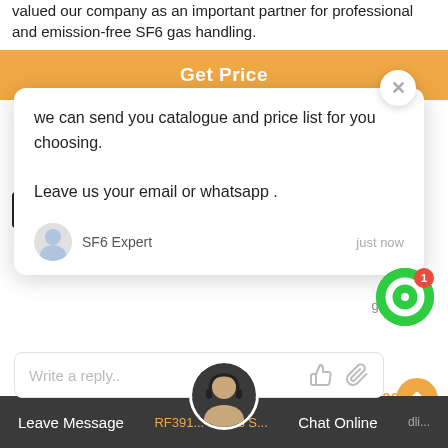valued our company as an important partner for professional and emission-free SF6 gas handling.
Get Price
[Figure (screenshot): Chat popup with message: we can send you catalogue and price list for you choosing. Leave us your email or whatsapp. Sender: SF6 Expert, just now. With close button and reply field.]
6 Gas Ha...
For easy maintenance on high voltage switchgear.
Leave Message   RF391... Series S...   Chat Online   dli...